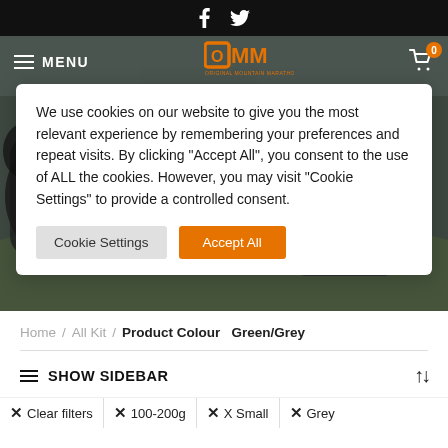Social icons: Facebook, Twitter
[Figure (screenshot): OMM website hero image showing mountain runners with OMM logo, navigation menu, and shopping cart]
We use cookies on our website to give you the most relevant experience by remembering your preferences and repeat visits. By clicking “Accept All”, you consent to the use of ALL the cookies. However, you may visit “Cookie Settings” to provide a controlled consent.
Cookie Settings | Accept All
Home / All Kit / Product Colour Green/Grey
SHOW SIDEBAR
✕ Clear filters | ✕ 100-200g | ✕ X Small | ✕ Grey